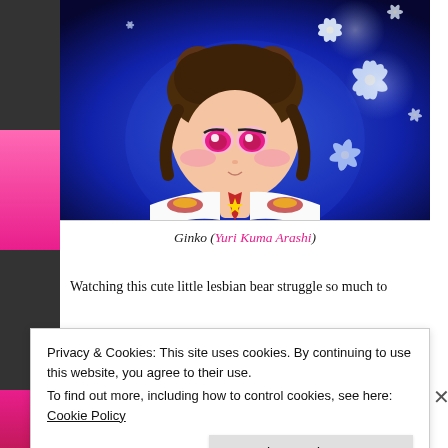[Figure (illustration): Anime-style illustration of a girl character named Ginko from Yuri Kuma Arashi, with bear ears, pink eyes, white jacket and red tie, standing against a dark blue glowing background with white lily flowers floating around her.]
Ginko (Yuri Kuma Arashi)
Watching this cute little lesbian bear struggle so much to finally get the girl and her precious promised kiss, was
Privacy & Cookies: This site uses cookies. By continuing to use this website, you agree to their use.
To find out more, including how to control cookies, see here: Cookie Policy

Close and accept